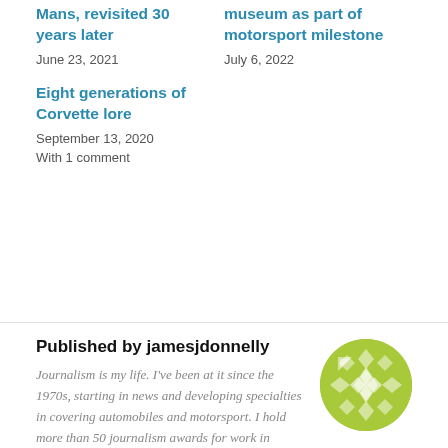Mans, revisited 30 years later
June 23, 2021
museum as part of motorsport milestone
July 6, 2022
Eight generations of Corvette lore
September 13, 2020
With 1 comment
Published by jamesjdonnelly
Journalism is my life. I've been at it since the 1970s, starting in news and developing specialties in covering automobiles and motorsport. I hold more than 50 journalism awards for work in